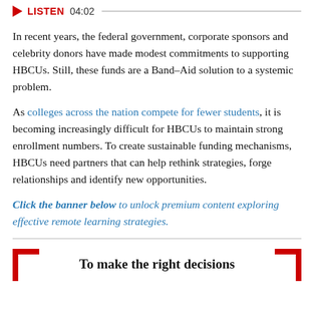[Figure (other): Audio player bar with red play button, LISTEN label, timestamp 04:02, and progress bar]
In recent years, the federal government, corporate sponsors and celebrity donors have made modest commitments to supporting HBCUs. Still, these funds are a Band-Aid solution to a systemic problem.
As colleges across the nation compete for fewer students, it is becoming increasingly difficult for HBCUs to maintain strong enrollment numbers. To create sustainable funding mechanisms, HBCUs need partners that can help rethink strategies, forge relationships and identify new opportunities.
Click the banner below to unlock premium content exploring effective remote learning strategies.
[Figure (other): Red bracket decoration with partial quote text: To make the right decisions]